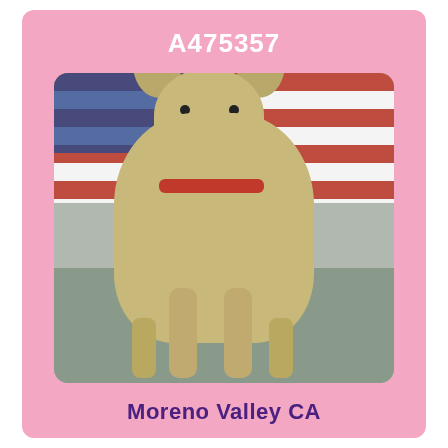A475357
[Figure (photo): A small tan/fawn Chihuahua dog standing and facing the camera, wearing a red collar/harness, photographed against an American flag backdrop and a gray floor.]
Moreno Valley CA